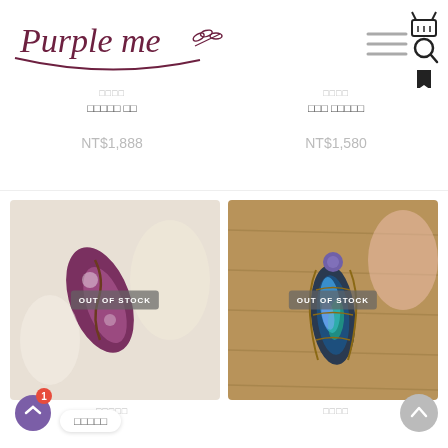[Figure (logo): Purple me brand logo with handwritten italic text and decorative underline with leaf/wheat motif]
[Figure (infographic): Navigation icons: hamburger menu, shopping basket, search magnifier, bookmark]
□□□□ □□□□ □□
NT$1,888
□□□ □□□□□
NT$1,580
[Figure (photo): Product photo of crystal/gemstone jewelry item with purple and white tones on white background, OUT OF STOCK badge overlay]
[Figure (photo): Product photo of labradorite crystal pendant with wire wrapping on wooden surface, OUT OF STOCK badge overlay]
□□□□□
□□□□
□□□□